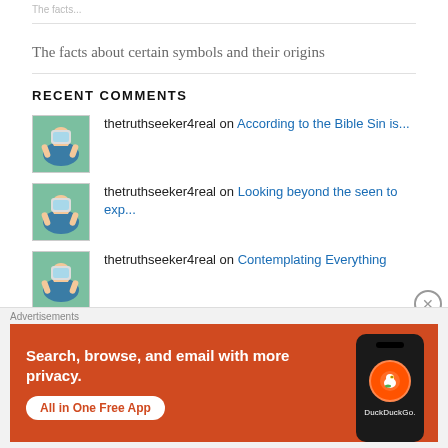The facts about certain symbols and their origins
RECENT COMMENTS
thetruthseeker4real on According to the Bible Sin is...
thetruthseeker4real on Looking beyond the seen to exp...
thetruthseeker4real on Contemplating Everything
[Figure (infographic): DuckDuckGo advertisement banner with orange background. Text reads: Search, browse, and email with more privacy. All in One Free App. Shows a phone with DuckDuckGo logo.]
Advertisements